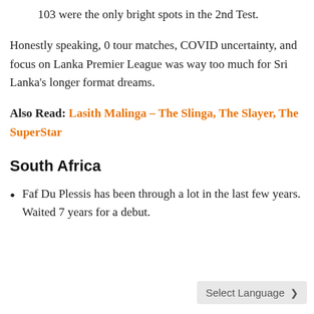103 were the only bright spots in the 2nd Test.
Honestly speaking, 0 tour matches, COVID uncertainty, and focus on Lanka Premier League was way too much for Sri Lanka's longer format dreams.
Also Read: Lasith Malinga – The Slinga, The Slayer, The SuperStar
South Africa
Faf Du Plessis has been through a lot in the last few years. Waited 7 years for a debut.